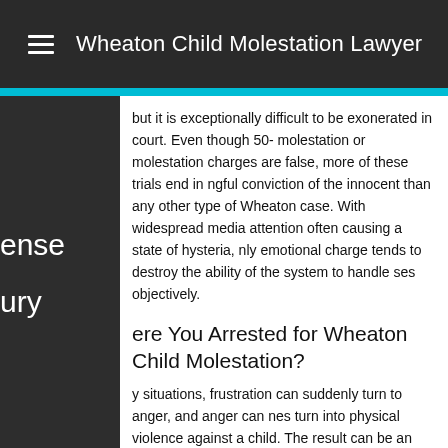Wheaton Child Molestation Lawyer
but it is exceptionally difficult to be exonerated in court. Even though 50- molestation or molestation charges are false, more of these trials end in ngful conviction of the innocent than any other type of Wheaton case. With widespread media attention often causing a state of hysteria, nly emotional charge tends to destroy the ability of the system to handle ses objectively.
ere You Arrested for Wheaton Child Molestation?
y situations, frustration can suddenly turn to anger, and anger can nes turn into physical violence against a child. The result can be an arrest molestation and the need for a Wheaton child molestation attorney. an 3 million children are reported as neglected or molestationd in the ry year. Most of the molestation is physical or psychological. Three-